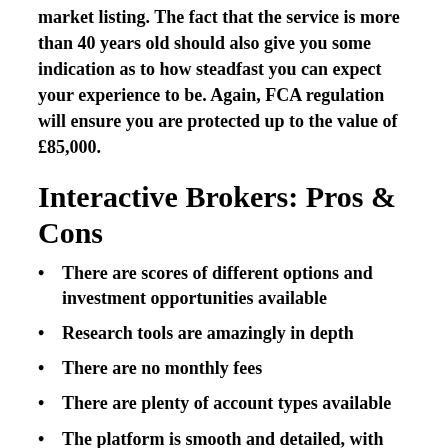market listing. The fact that the service is more than 40 years old should also give you some indication as to how steadfast you can expect your experience to be. Again, FCA regulation will ensure you are protected up to the value of £85,000.
Interactive Brokers: Pros & Cons
There are scores of different options and investment opportunities available
Research tools are amazingly in depth
There are no monthly fees
There are plenty of account types available
The platform is smooth and detailed, with tons of data for you to crunch